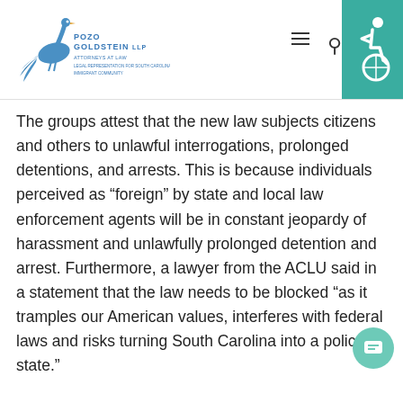Pozo Goldstein LLP — Law firm logo header with search and accessibility icons
The groups attest that the new law subjects citizens and others to unlawful interrogations, prolonged detentions, and arrests. This is because individuals perceived as “foreign” by state and local law enforcement agents will be in constant jeopardy of harassment and unlawfully prolonged detention and arrest. Furthermore, a lawyer from the ACLU said in a statement that the law needs to be blocked “as it tramples our American values, interferes with federal laws and risks turning South Carolina into a police state.”
The state of South Carolina is just one more that rounds up the list of many states that have decided